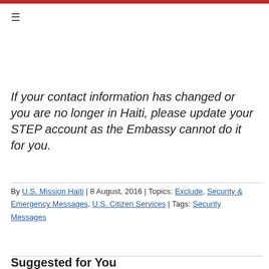≡
If your contact information has changed or you are no longer in Haiti, please update your STEP account as the Embassy cannot do it for you.
By U.S. Mission Haiti | 8 August, 2016 | Topics: Exclude, Security & Emergency Messages, U.S. Citizen Services | Tags: Security Messages
Suggested for You
Great Seal of the United States